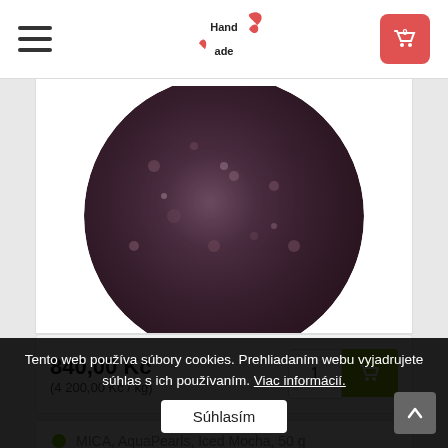HandMade
[Figure (photo): Circular photo of dark purple/mauve mica powder (MICA AquaPearls product), cropped at top]
840,00 Kč
(4 200,00 Kč / kg)
MICA, AquaPearls, Iced Mocha, 50 g
[Figure (photo): Circular photo of dark purple/mauve mica powder (MICA AquaPearls Iced Mocha), partially visible]
Tento web používa súbory cookies. Prehliadaním webu vyjadrujete súhlas s ich používaním. Viac informácií.
Súhlasím